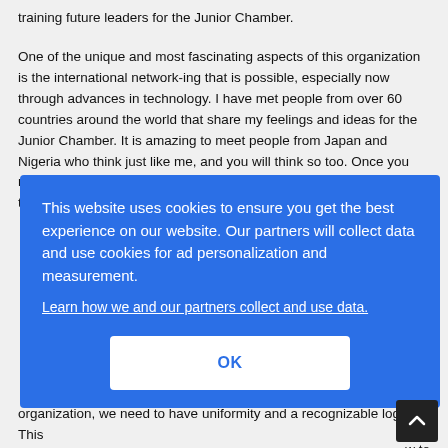training future leaders for the Junior Chamber.
One of the unique and most fascinating aspects of this organization is the international network-ing that is possible, especially now through advances in technology. I have met people from over 60 countries around the world that share my feelings and ideas for the Junior Chamber. It is amazing to meet people from Japan and Nigeria who think just like me, and you will think so too. Once you meet a few people from around the world, you can find a Chapter that is similar to yours [continues] ...ami ...na. It ...w to
This website uses cookies to ensure you get the best experience on our website. Our partners will collect data and use cookies for ad personalization and measurement.
Learn how we and our partners collect and use data.
OK
...e the ...lf we organization, we need to have uniformity and a recognizable logo. This